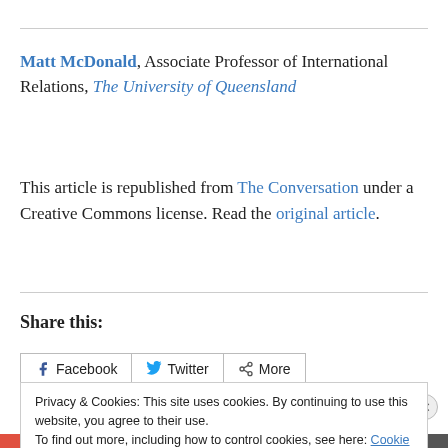Matt McDonald, Associate Professor of International Relations, The University of Queensland
This article is republished from The Conversation under a Creative Commons license. Read the original article.
Share this:
Facebook  Twitter  More
Privacy & Cookies: This site uses cookies. By continuing to use this website, you agree to their use. To find out more, including how to control cookies, see here: Cookie Policy
Close and accept